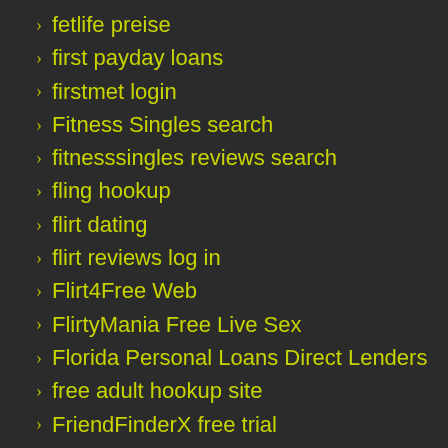fetlife preise
first payday loans
firstmet login
Fitness Singles search
fitnesssingles reviews search
fling hookup
flirt dating
flirt reviews log in
Flirt4Free Web
FlirtyMania Free Live Sex
Florida Personal Loans Direct Lenders
free adult hookup site
FriendFinderX free trial
friendfinderx reviews
friendfinderx total loss